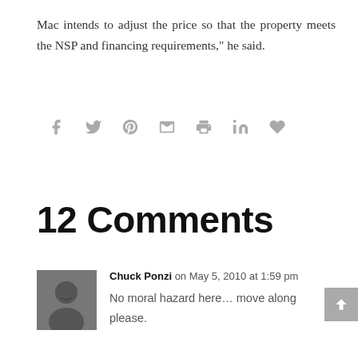Mac intends to adjust the price so that the property meets the NSP and financing requirements," he said.
[Figure (infographic): Social sharing icons: facebook, twitter, pinterest, email, print, linkedin, like/heart]
12 Comments
Chuck Ponzi on May 5, 2010 at 1:59 pm
No moral hazard here… move along please.